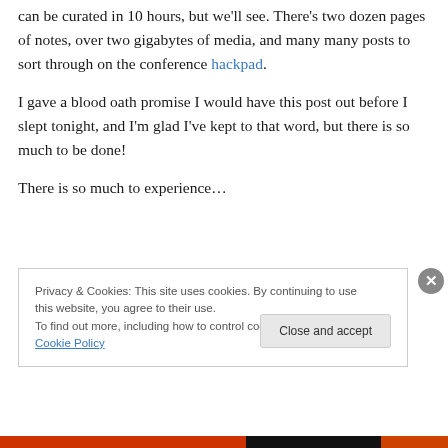can be curated in 10 hours, but we'll see. There's two dozen pages of notes, over two gigabytes of media, and many many posts to sort through on the conference hackpad.
I gave a blood oath promise I would have this post out before I slept tonight, and I'm glad I've kept to that word, but there is so much to be done!
There is so much to experience…
Privacy & Cookies: This site uses cookies. By continuing to use this website, you agree to their use.
To find out more, including how to control cookies, see here: Cookie Policy